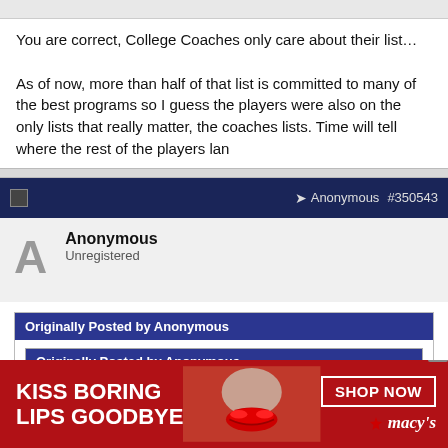You are correct, College Coaches only care about their list…
As of now, more than half of that list is committed to many of the best programs so I guess the players were also on the only lists that really matter, the coaches lists. Time will tell where the rest of the players land
Anonymous #350543
Anonymous
Unregistered
Originally Posted by Anonymous
Originally Posted by Anonymous
Not at all. Coaches don't care about lists like this at all!
[Figure (screenshot): Red Macy's advertisement banner: KISS BORING LIPS GOODBYE with woman's face and SHOP NOW button and Macy's star logo]